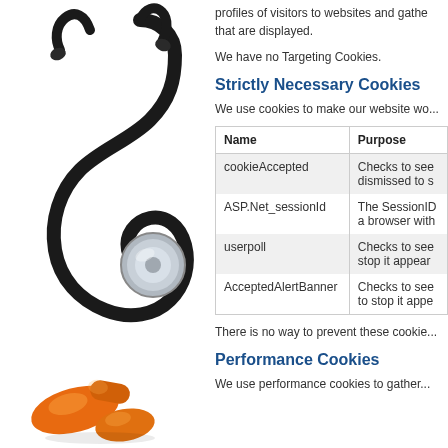[Figure (photo): A stethoscope and orange pills/tablets on a white background]
profiles of visitors to websites and gathe... that are displayed.
We have no Targeting Cookies.
Strictly Necessary Cookies
We use cookies to make our website wo...
| Name | Purpose |
| --- | --- |
| cookieAccepted | Checks to see... dismissed to s... |
| ASP.Net_sessionId | The SessionID... a browser with... |
| userpoll | Checks to see... stop it appear... |
| AcceptedAlertBanner | Checks to see... to stop it appe... |
There is no way to prevent these cookie...
Performance Cookies
We use performance cookies to gather...